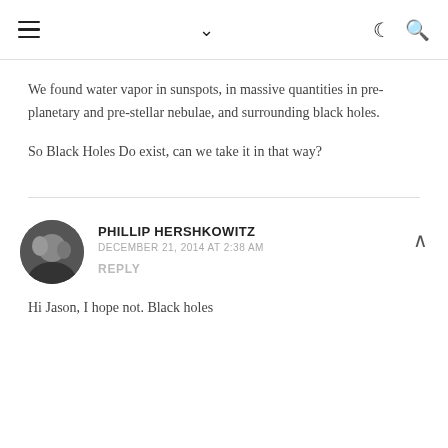≡  ∨  ☾ 🔍
We found water vapor in sunspots, in massive quantities in pre-planetary and pre-stellar nebulae, and surrounding black holes.
So Black Holes Do exist, can we take it in that way?
PHILLIP HERSHKOWITZ
DECEMBER 21, 2014 AT 2:38 AM
REPLY
Hi Jason, I hope not. Black holes